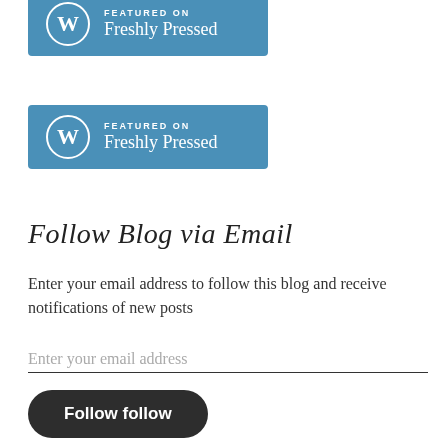[Figure (logo): WordPress Freshly Pressed badge (partially cropped at top) — blue banner with WP logo and text 'FEATURED ON Freshly Pressed']
[Figure (logo): WordPress Freshly Pressed badge — blue banner with WP circle logo and text 'FEATURED ON Freshly Pressed']
Follow Blog via Email
Enter your email address to follow this blog and receive notifications of new posts
Enter your email address
Follow follow